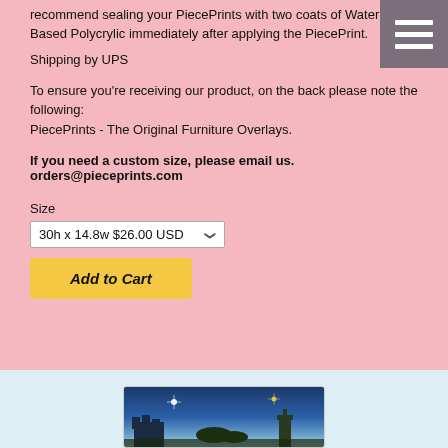recommend sealing your PiecePrints with two coats of Water Based Polycrylic immediately after applying the PiecePrint.
Shipping by UPS
To ensure you're receiving our product, on the back please note the following:
PiecePrints - The Original Furniture Overlays.
If you need a custom size, please email us.
orders@pieceprints.com
Size
30h x 14.8w $26.00 USD
Add to Cart
[Figure (photo): Bottom section with light blue background showing a partial image card with a castle/lighthouse scene at twilight]